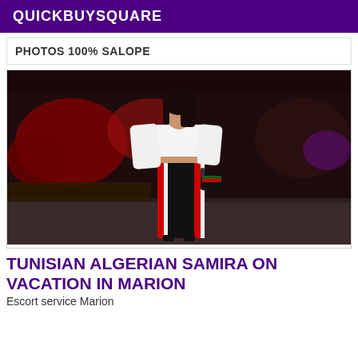QUICKBUYSQUARE
PHOTOS 100% SALOPE
[Figure (photo): A woman standing outdoors at night wearing a white off-shoulder top and black wide-leg pants with red and white side stripes, holding a dark handbag. Background shows red-lit trees and a dark parking area.]
TUNISIAN ALGERIAN SAMIRA ON VACATION IN MARION
Escort service Marion